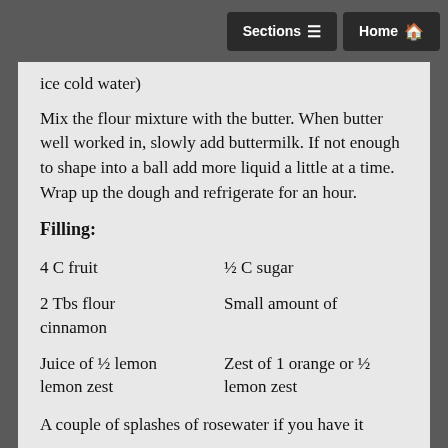Sections  Home
ice cold water)
Mix the flour mixture with the butter. When butter well worked in, slowly add buttermilk. If not enough to shape into a ball add more liquid a little at a time. Wrap up the dough and refrigerate for an hour.
Filling:
4 C fruit
½ C sugar
2 Tbs flour cinnamon
Small amount of cinnamon
Juice of ½ lemon lemon zest
Zest of 1 orange or ½ lemon zest
A couple of splashes of rosewater if you have it